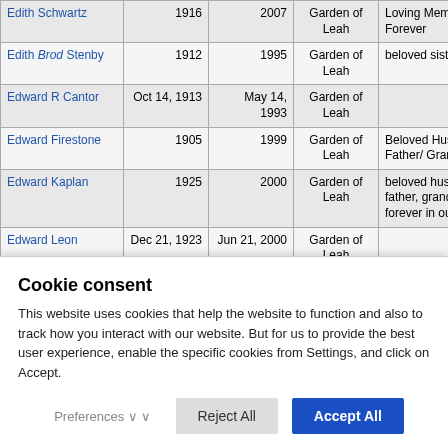| Name | Born | Died | Location | Inscription |
| --- | --- | --- | --- | --- |
| Edith Schwartz | 1916 | 2007 | Garden of Leah | Loving Memories Last Forever |
| Edith Brod Stenby | 1912 | 1995 | Garden of Leah | beloved sister |
| Edward R Cantor | Oct 14, 1913 | May 14, 1993 | Garden of Leah |  |
| Edward Firestone | 1905 | 1999 | Garden of Leah | Beloved Husband, Father/ Grandfather |
| Edward Kaplan | 1925 | 2000 | Garden of Leah | beloved husband, / father, grandfather / forever in our hearts |
| Edward Leon | Dec 21, 1923 | Jun 21, 2000 | Garden of Leah |  |
| Edward J Lesse | 1921 | 1997 | Garden of Leah |  |
| Edward | ... | ... | Garden | ... |
Cookie consent
This website uses cookies that help the website to function and also to track how you interact with our website. But for us to provide the best user experience, enable the specific cookies from Settings, and click on Accept.